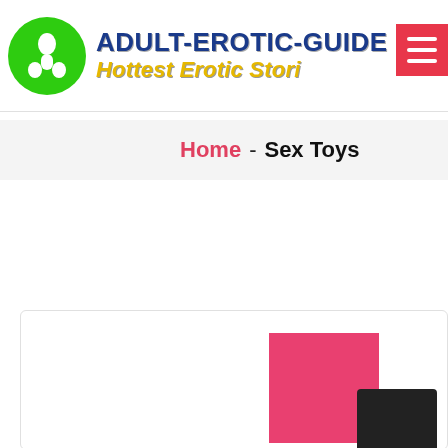ADULT-EROTIC-GUIDE — Hottest Erotic Stories
Home - Sex Toys
[Figure (other): Partial product image with pink and black color blocks inside a card with border]